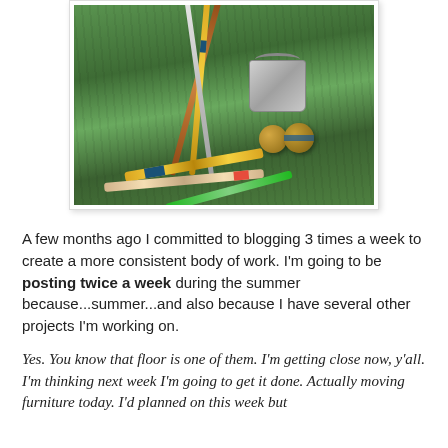[Figure (photo): Photograph of croquet mallets, balls, and a metal bucket arranged on green grass lawn]
A few months ago I committed to blogging 3 times a week to create a more consistent body of work. I'm going to be posting twice a week during the summer because...summer...and also because I have several other projects I'm working on.
Yes. You know that floor is one of them. I'm getting close now, y'all. I'm thinking next week I'm going to get it done. Actually moving furniture today. I'd planned on this week but